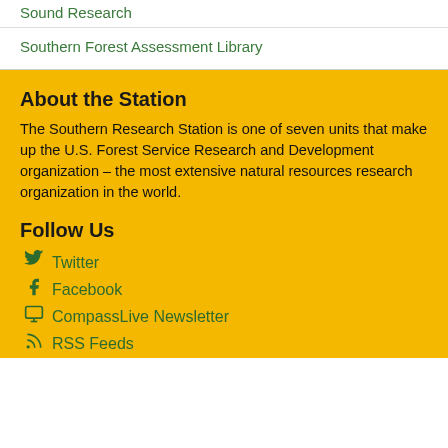Sound Research
Southern Forest Assessment Library
About the Station
The Southern Research Station is one of seven units that make up the U.S. Forest Service Research and Development organization – the most extensive natural resources research organization in the world.
Follow Us
Twitter
Facebook
CompassLive Newsletter
RSS Feeds